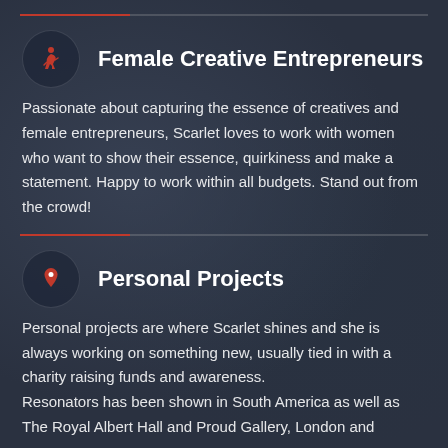Female Creative Entrepreneurs
Passionate about capturing the essence of creatives and female entrepreneurs, Scarlet loves to work with women who want to show their essence, quirkiness and make a statement. Happy to work within all budgets. Stand out from the crowd!
Personal Projects
Personal projects are where Scarlet shines and she is always working on something new, usually tied in with a charity raising funds and awareness.
Resonators has been shown in South America as well as The Royal Albert Hall and Proud Gallery, London and